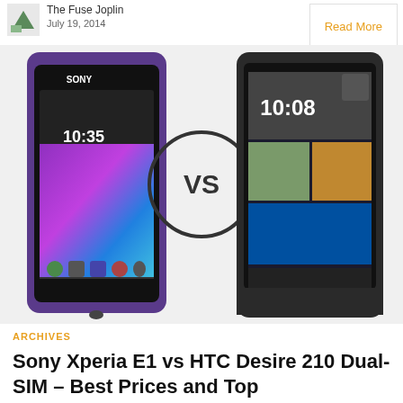The Fuse Joplin
July 19, 2014
Read More
[Figure (photo): Sony Xperia E1 vs HTC Desire 210 Dual-SIM comparison image with VS circle in the middle]
ARCHIVES
Sony Xperia E1 vs HTC Desire 210 Dual-SIM – Best Prices and Top Specifications
Although there are a lot and this compared those two phones, we invite you to...